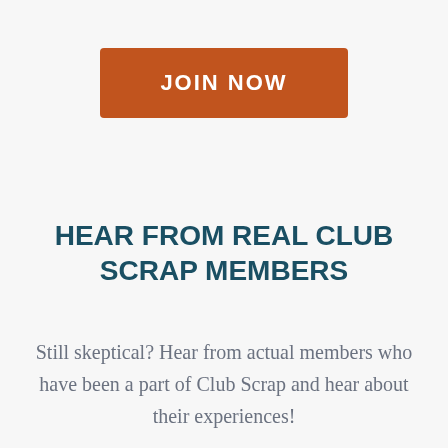[Figure (other): Orange button with white bold text reading JOIN NOW]
HEAR FROM REAL CLUB SCRAP MEMBERS
Still skeptical? Hear from actual members who have been a part of Club Scrap and hear about their experiences!